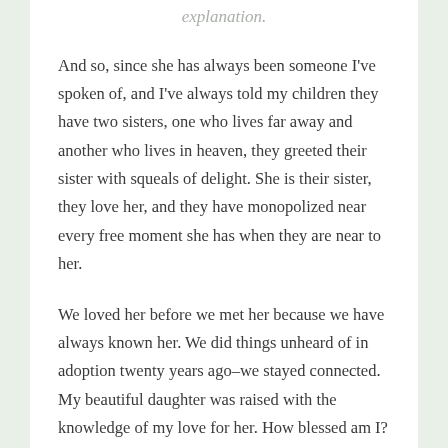explanation.
And so, since she has always been someone I've spoken of, and I've always told my children they have two sisters, one who lives far away and another who lives in heaven, they greeted their sister with squeals of delight. She is their sister, they love her, and they have monopolized near every free moment she has when they are near to her.
We loved her before we met her because we have always known her. We did things unheard of in adoption twenty years ago–we stayed connected. My beautiful daughter was raised with the knowledge of my love for her. How blessed am I?
My beautiful daughter was, and remains, loved and